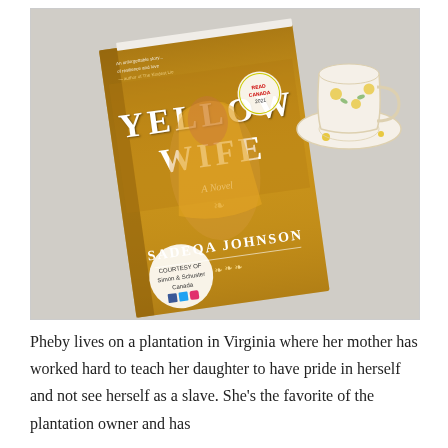[Figure (photo): A photograph of the book 'Yellow Wife' by Sadeqa Johnson placed on a light fuzzy surface. The book cover shows a woman in a yellow dress. Next to the book is a white teacup and saucer with yellow floral design.]
Pheby lives on a plantation in Virginia where her mother has worked hard to teach her daughter to have pride in herself and not see herself as a slave. She's the favorite of the plantation owner and has